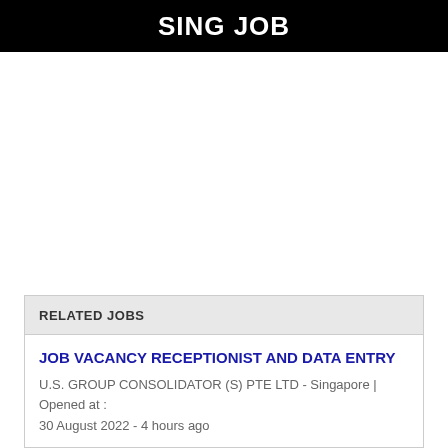SING JOB
RELATED JOBS
JOB VACANCY RECEPTIONIST AND DATA ENTRY
U.S. GROUP CONSOLIDATOR (S) PTE LTD - Singapore | Opened at : 30 August 2022 - 4 hours ago